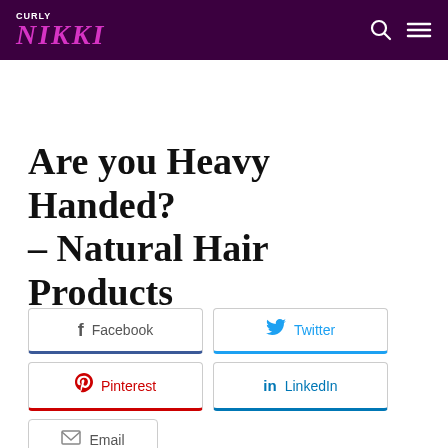CURLY NIKKI
Are you Heavy Handed? – Natural Hair Products
Facebook
Twitter
Pinterest
LinkedIn
Email